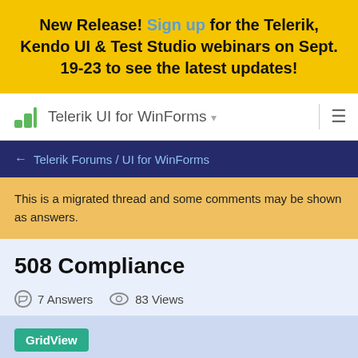New Release! Sign up for the Telerik, Kendo UI & Test Studio webinars on Sept. 19-23 to see the latest updates!
[Figure (logo): Telerik logo (green stacked bars icon) with 'Telerik UI for WinForms' navigation bar and hamburger menu]
← Telerik Forums / UI for WinForms
This is a migrated thread and some comments may be shown as answers.
508 Compliance
7 Answers   83 Views
GridView